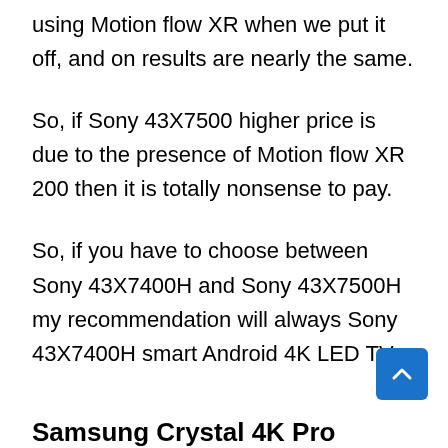testing, we didn't find much difference in using Motion flow XR when we put it off, and on results are nearly the same.
So, if Sony 43X7500 higher price is due to the presence of Motion flow XR 200 then it is totally nonsense to pay.
So, if you have to choose between Sony 43X7400H and Sony 43X7500H my recommendation will always Sony 43X7400H smart Android 4K LED TV.
Samsung Crystal 4K Pro